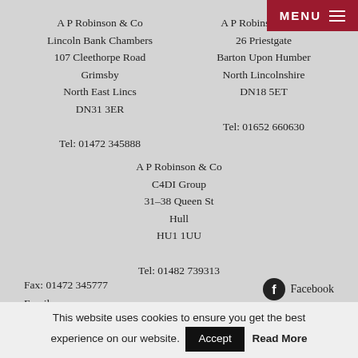MENU
A P Robinson & Co
Lincoln Bank Chambers
107 Cleethorpe Road
Grimsby
North East Lincs
DN31 3ER

Tel: 01472 345888
A P Robinson & Co
26 Priestgate
Barton Upon Humber
North Lincolnshire
DN18 5ET

Tel: 01652 660630
A P Robinson & Co
C4DI Group
31–38 Queen St
Hull
HU1 1UU

Tel: 01482 739313
Fax: 01472 345777
Email:
enquiries@aprobinson.biz
Facebook
Twitter
This website uses cookies to ensure you get the best experience on our website.
Accept
Read More